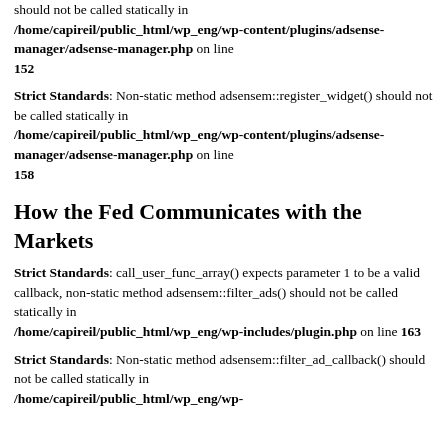should not be called statically in /home/capireil/public_html/wp_eng/wp-content/plugins/adsense-manager/adsense-manager.php on line 152
Strict Standards: Non-static method adsensem::register_widget() should not be called statically in /home/capireil/public_html/wp_eng/wp-content/plugins/adsense-manager/adsense-manager.php on line 158
How the Fed Communicates with the Markets
Strict Standards: call_user_func_array() expects parameter 1 to be a valid callback, non-static method adsensem::filter_ads() should not be called statically in /home/capireil/public_html/wp_eng/wp-includes/plugin.php on line 163
Strict Standards: Non-static method adsensem::filter_ad_callback() should not be called statically in /home/capireil/public_html/wp_eng/wp-